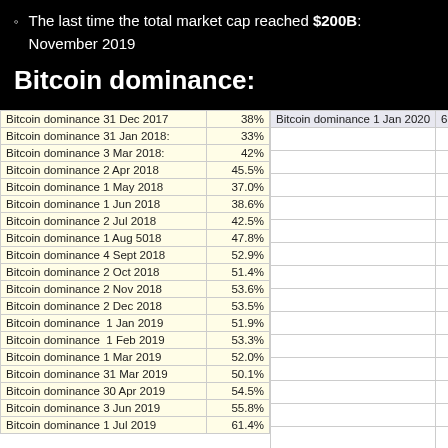The last time the total market cap reached $200B: November 2019
Bitcoin dominance:
|  |  |
| --- | --- |
| Bitcoin dominance 31 Dec 2017 | 38% |
| Bitcoin dominance 31 Jan 2018: | 33% |
| Bitcoin dominance 3 Mar 2018: | 42% |
| Bitcoin dominance 2 Apr 2018 | 45.5% |
| Bitcoin dominance 1 May 2018 | 37.0% |
| Bitcoin dominance 1 Jun 2018 | 38.6% |
| Bitcoin dominance 2 Jul 2018 | 42.5% |
| Bitcoin dominance 1 Aug 5018 | 47.8% |
| Bitcoin dominance 4 Sept 2018 | 52.9% |
| Bitcoin dominance 2 Oct 2018 | 51.4% |
| Bitcoin dominance 2 Nov 2018 | 53.6% |
| Bitcoin dominance 2 Dec 2018 | 53.5% |
| Bitcoin dominance  1 Jan 2019 | 51.9% |
| Bitcoin dominance  1 Feb 2019 | 53.3% |
| Bitcoin dominance 1 Mar 2019 | 52.0% |
| Bitcoin dominance 31 Mar 2019 | 50.1% |
| Bitcoin dominance 30 Apr 2019 | 54.5% |
| Bitcoin dominance 3 Jun 2019 | 55.8% |
| Bitcoin dominance 1 Jul 2019 | 61.4% |
| Bitcoin dominance 1 Jan 2020 | 68.2% |
| --- | --- |